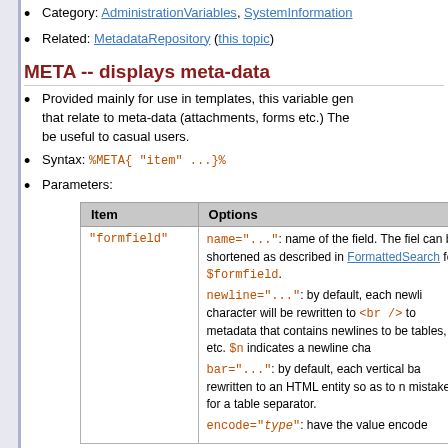Category: AdministrationVariables, SystemInformation
Related: MetadataRepository (this topic)
META -- displays meta-data
Provided mainly for use in templates, this variable generates that relate to meta-data (attachments, forms etc.) The be useful to casual users.
Syntax: %META{ "item" ...}%
Parameters:
| Item | Options |
| --- | --- |
| "formfield" | name="...": name of the field. The field can be shortened as described in FormattedSearch for $formfield.
newline="...": by default, each newline character will be rewritten to <br /> to metadata that contains newlines to be tables, etc. $n indicates a newline cha
bar="...": by default, each vertical bar rewritten to an HTML entity so as to n mistaken for a table separator.
encode="type": have the value encode |